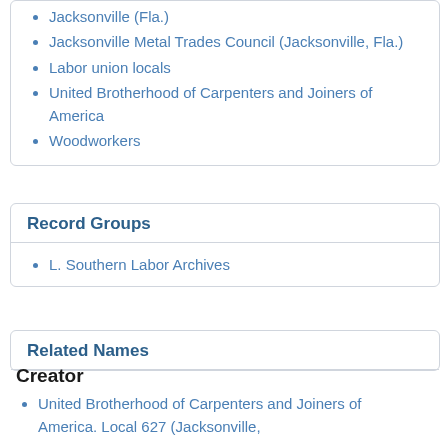Jacksonville (Fla.)
Jacksonville Metal Trades Council (Jacksonville, Fla.)
Labor union locals
United Brotherhood of Carpenters and Joiners of America
Woodworkers
Record Groups
L. Southern Labor Archives
Related Names
Creator
United Brotherhood of Carpenters and Joiners of America. Local 627 (Jacksonville,